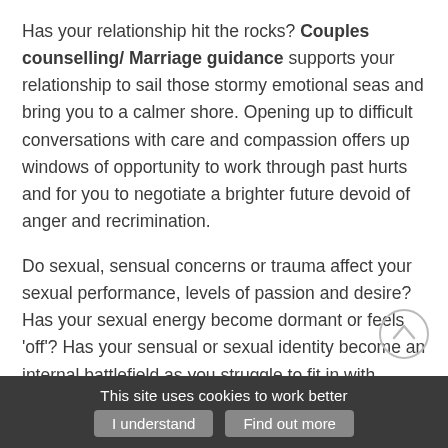Has your relationship hit the rocks? Couples counselling/ Marriage guidance supports your relationship to sail those stormy emotional seas and bring you to a calmer shore. Opening up to difficult conversations with care and compassion offers up windows of opportunity to work through past hurts and for you to negotiate a brighter future devoid of anger and recrimination.
Do sexual, sensual concerns or trauma affect your sexual performance, levels of passion and desire? Has your sexual energy become dormant or feels 'off'? Has your sensual or sexual identity become an internal battlefield as you struggle to fit in with societal norms? do you feel stressed when
This site uses cookies to work better | I understand | Find out more